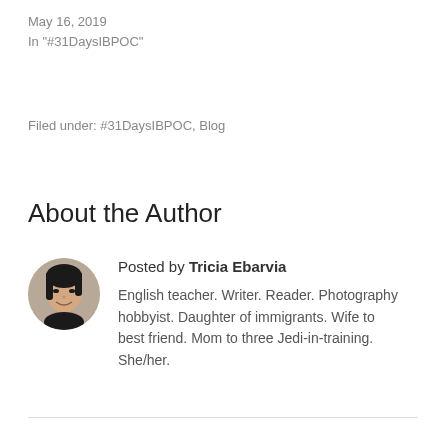May 16, 2019
In "#31DaysIBPOC"
Filed under: #31DaysIBPOC, Blog
About the Author
Posted by Tricia Ebarvia
[Figure (photo): Circular avatar photo of Tricia Ebarvia, a woman with dark hair, smiling]
English teacher. Writer. Reader. Photography hobbyist. Daughter of immigrants. Wife to best friend. Mom to three Jedi-in-training. She/her.